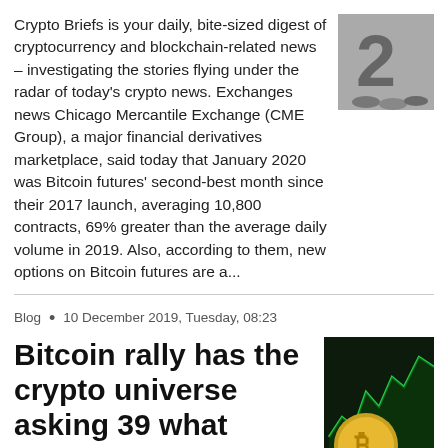Crypto Briefs is your daily, bite-sized digest of cryptocurrency and blockchain-related news – investigating the stories flying under the radar of today's crypto news. Exchanges news Chicago Mercantile Exchange (CME Group), a major financial derivatives marketplace, said today that January 2020 was Bitcoin futures' second-best month since their 2017 launch, averaging 10,800 contracts, 69% greater than the average daily volume in 2019. Also, according to them, new options on Bitcoin futures are a...
[Figure (photo): Thumbnail image showing the number 2 with a metallic/silver appearance and some coins or circular objects at the bottom]
Blog  •  10 December 2019, Tuesday, 08:23
Bitcoin rally has the crypto universe asking 39 what
[Figure (photo): Image showing a Bitcoin gold coin in the foreground with a green stock chart/candlestick chart in the background on a dark screen]